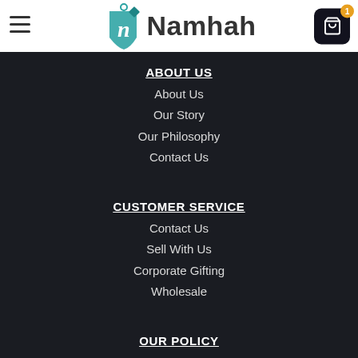[Figure (logo): Namhah brand logo with teal tag icon and brand name text]
ABOUT US
About Us
Our Story
Our Philosophy
Contact Us
CUSTOMER SERVICE
Contact Us
Sell With Us
Corporate Gifting
Wholesale
OUR POLICY